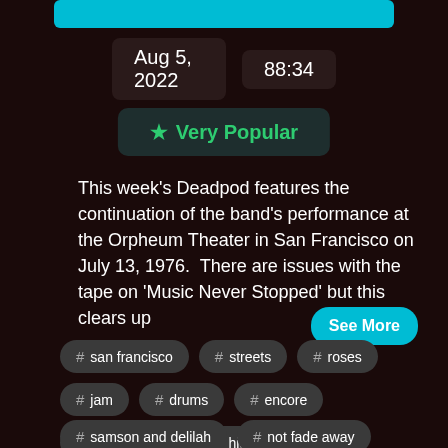Aug 5, 2022   88:34
★ Very Popular
This week's Deadpod features the continuation of the band's performance at the Orpheum Theater in San Francisco on July 13, 1976.  There are issues with the tape on 'Music Never Stopped' but this clears up
# san francisco
# streets
# roses
# jam
# drums
# encore
# grateful dead
# high time
# samson and delilah
# not fade away